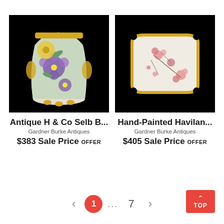[Figure (photo): Antique H & Co Selb Bavaria porcelain bucket/vase with floral hand-painted design featuring purple and yellow flowers, gold trim, on black background]
Antique H & Co Selb B...
Gardner Burke Antiques
$383 Sale Price OFFER
[Figure (photo): Hand-Painted Haviland decorative rectangular porcelain tray with pink floral design and gold scalloped edges, on black background]
Hand-Painted Havilan...
Gardner Burke Antiques
$405 Sale Price OFFER
< 1 ... 7 > TOP